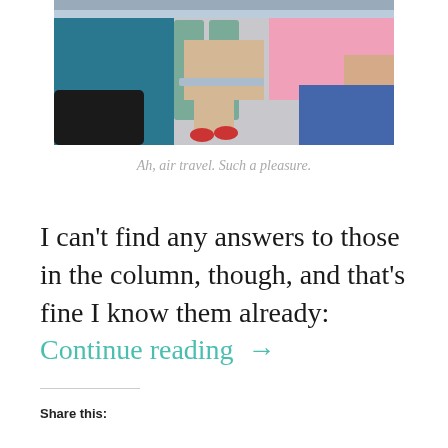[Figure (photo): Passengers seated in airplane cabin, viewed from side angle. People wearing colorful clothing including teal, pink, and beige. Tray tables visible.]
Ah, air travel. Such a pleasure.
I can't find any answers to those in the column, though, and that's fine I know them already: Continue reading →
Share this: